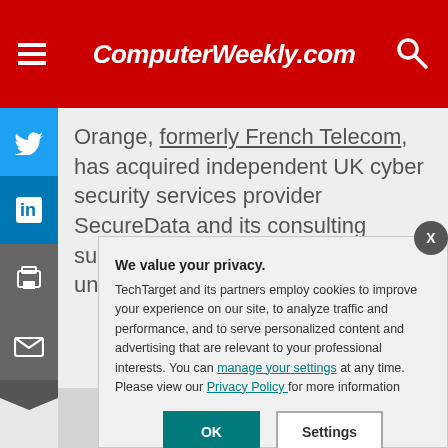ComputerWeekly.com
Orange, formerly French Telecom, has acquired independent UK cyber security services provider SecureData and its consulting subsidiary SensePost for an undisclosed sum.
We value your privacy.
TechTarget and its partners employ cookies to improve your experience on our site, to analyze traffic and performance, and to serve personalized content and advertising that are relevant to your professional interests. You can manage your settings at any time. Please view our Privacy Policy for more information